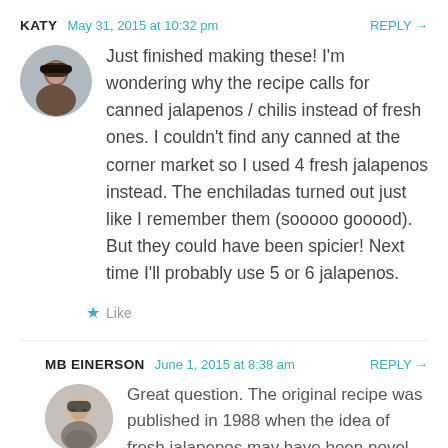KATY   May 31, 2015 at 10:32 pm   REPLY →
[Figure (photo): Round avatar photo of Katy, a woman outdoors]
Just finished making these! I'm wondering why the recipe calls for canned jalapenos / chilis instead of fresh ones. I couldn't find any canned at the corner market so I used 4 fresh jalapenos instead. The enchiladas turned out just like I remember them (sooooo gooood). But they could have been spicier! Next time I'll probably use 5 or 6 jalapenos.
★ Like
MB EINERSON   June 1, 2015 at 8:38 am   REPLY →
[Figure (photo): Round avatar photo of MB Einerson, a woman with glasses]
Great question. The original recipe was published in 1988 when the idea of fresh jalapenos may have been novel for much